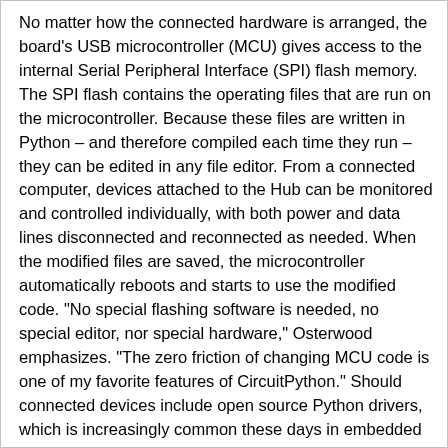No matter how the connected hardware is arranged, the board's USB microcontroller (MCU) gives access to the internal Serial Peripheral Interface (SPI) flash memory. The SPI flash contains the operating files that are run on the microcontroller. Because these files are written in Python – and therefore compiled each time they run – they can be edited in any file editor. From a connected computer, devices attached to the Hub can be monitored and controlled individually, with both power and data lines disconnected and reconnected as needed. When the modified files are saved, the microcontroller automatically reboots and starts to use the modified code. "No special flashing software is needed, no special editor, nor special hardware," Osterwood emphasizes. "The zero friction of changing MCU code is one of my favorite features of CircuitPython." Should connected devices include open source Python drivers, which is increasingly common these days in embedded devices, the opportunities for further control become even greater.
As Osterwood notes, the ability to program the Hub "allows for some interesting use cases." For example, enumeration can be delayed so that devices do not immediately come online. Similarly, it allows switching between several identical USB devices. Power and data can also be disconnected automatically